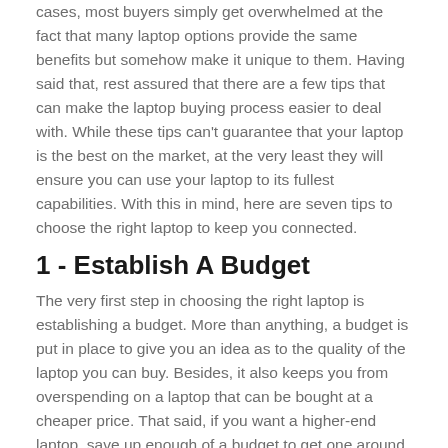cases, most buyers simply get overwhelmed at the fact that many laptop options provide the same benefits but somehow make it unique to them. Having said that, rest assured that there are a few tips that can make the laptop buying process easier to deal with. While these tips can't guarantee that your laptop is the best on the market, at the very least they will ensure you can use your laptop to its fullest capabilities. With this in mind, here are seven tips to choose the right laptop to keep you connected.
1 - Establish A Budget
The very first step in choosing the right laptop is establishing a budget. More than anything, a budget is put in place to give you an idea as to the quality of the laptop you can buy. Besides, it also keeps you from overspending on a laptop that can be bought at a cheaper price. That said, if you want a higher-end laptop, save up enough of a budget to get one around the same price range. Worth mentioning, there are high-quality laptops such as the DELL